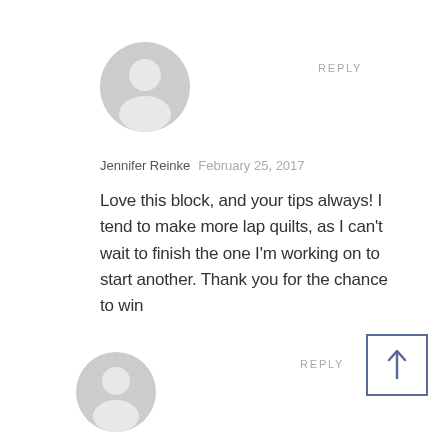[Figure (illustration): Gray default user avatar icon, circle head above shoulders, first comment]
REPLY
Jennifer Reinke  February 25, 2017
Love this block, and your tips always! I tend to make more lap quilts, as I can't wait to finish the one I'm working on to start another. Thank you for the chance to win
REPLY
[Figure (illustration): Gray default user avatar icon, circle head above shoulders, second comment]
[Figure (other): Scroll-to-top button: a bordered square with an upward arrow inside]